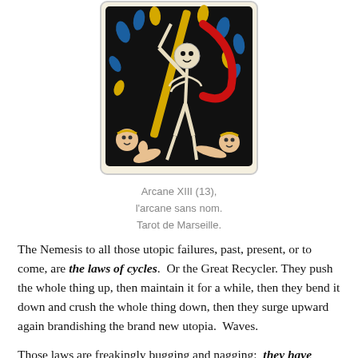[Figure (illustration): Tarot card image: Arcane XIII (13), the unnamed arcane from Tarot de Marseille, showing a skeleton figure with a scythe on a dark background with body parts and blue/yellow foliage]
Arcane XIII (13),
l'arcane sans nom.
Tarot de Marseille.
The Nemesis to all those utopic failures, past, present, or to come, are the laws of cycles.  Or the Great Recycler.  They push the whole thing up, then maintain it for a while, then they bend it down and crush the whole thing down, then they surge upward again brandishing the brand new utopia.  Waves.
Those laws are freakingly bugging and nagging:  they have neither “good” nor “bad” intentions, they just